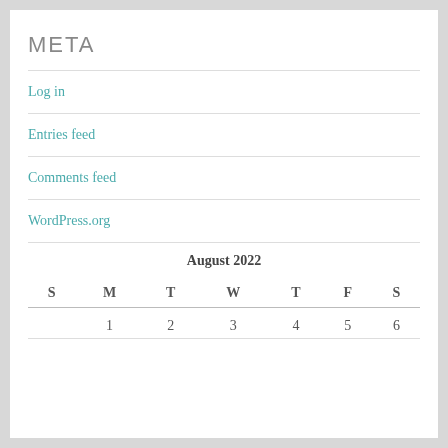META
Log in
Entries feed
Comments feed
WordPress.org
| S | M | T | W | T | F | S |
| --- | --- | --- | --- | --- | --- | --- |
|  | 1 | 2 | 3 | 4 | 5 | 6 |